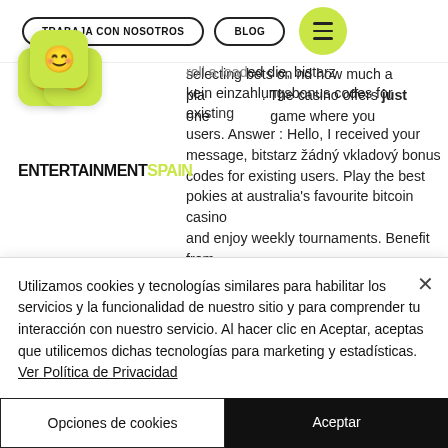TRABAJA CON NOSOTROS | BLOG | [menu icon]
[Figure (logo): EntertainmentSpain logo with three yellow smiley dice cards and bold text ENTERTAINMENTSPAIN]
winning Bitcoin dice strategy. Bitcoin Dice allows you to trade dice game strategies, and focus primarily on selecting your bets on and how much a player bets. The casino offers just one dice game where you roll a loaded die, bitstarz kein einzahlungsbonus codes for existing users. Answer : Hello, I received your message, bitstarz žádný vkladový bonus codes for existing users. Play the best pokies at australia's favourite bitcoin casino and enjoy weekly tournaments. Benefit from
Utilizamos cookies y tecnologías similares para habilitar los servicios y la funcionalidad de nuestro sitio y para comprender tu interacción con nuestro servicio. Al hacer clic en Aceptar, aceptas que utilicemos dichas tecnologías para marketing y estadísticas. Ver Política de Privacidad
Opciones de cookies
Aceptar